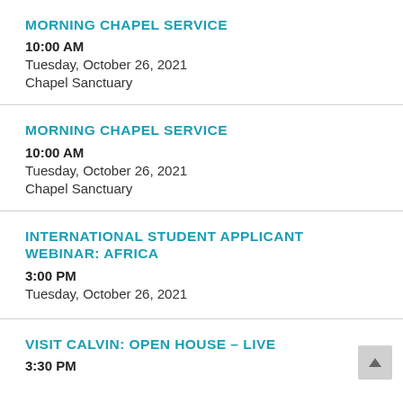MORNING CHAPEL SERVICE
10:00 AM
Tuesday, October 26, 2021
Chapel Sanctuary
MORNING CHAPEL SERVICE
10:00 AM
Tuesday, October 26, 2021
Chapel Sanctuary
INTERNATIONAL STUDENT APPLICANT WEBINAR: AFRICA
3:00 PM
Tuesday, October 26, 2021
VISIT CALVIN: OPEN HOUSE – LIVE
3:30 PM